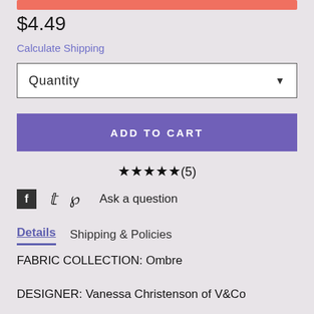[Figure (other): Orange/salmon colored decorative bar at top of page]
$4.49
Calculate Shipping
Quantity
ADD TO CART
★★★★★(5)
Ask a question
Details   Shipping & Policies
FABRIC COLLECTION: Ombre
DESIGNER: Vanessa Christenson of V&Co